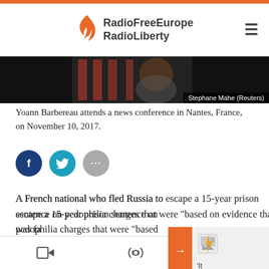RadioFreeEurope RadioLiberty
[Figure (photo): Yoann Barbereau at a news conference in Nantes, France. Photo credit: Stephane Mahe (Reuters)]
Yoann Barbereau attends a news conference in Nantes, France, on November 10, 2017.
A French national who fled Russia to escape a 15-year prison sentence on pedophilia charges that were "based on evidence that was fabricated" has written a book about his experiences in a Russian pretrial holding cell and harrowing...
Navigation icons: video, podcast, search